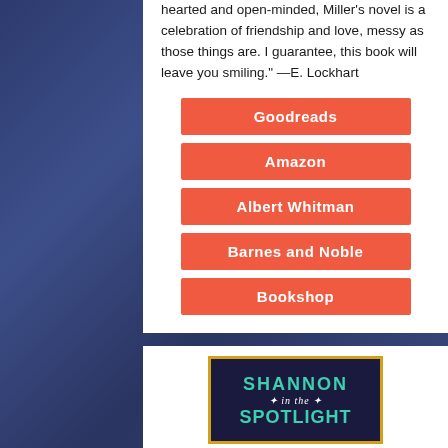hearted and open-minded, Miller's novel is a celebration of friendship and love, messy as those things are. I guarantee, this book will leave you smiling." —E. Lockhart
Goodreads
Amazon
Albert Whitman
Barnes and Noble
Bookshop
[Figure (illustration): Book cover for 'Shannon in the Spotlight' showing the title in teal/mint letters on a dark navy background with a gold border]